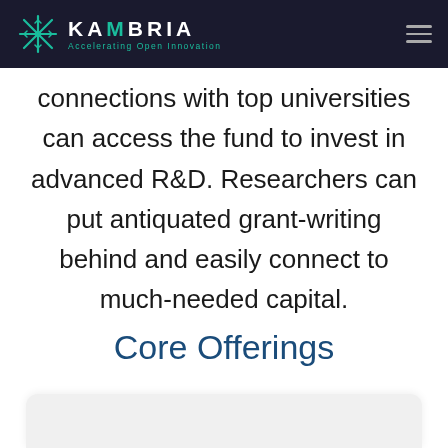KAMBRIA — Accelerating Open Innovation
connections with top universities can access the fund to invest in advanced R&D. Researchers can put antiquated grant-writing behind and easily connect to much-needed capital.
Core Offerings